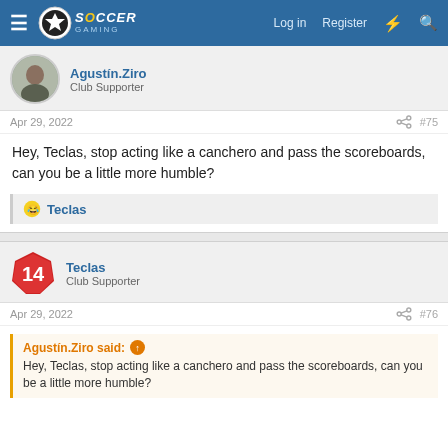Soccer Gaming — Log in  Register
Agustín.Ziro
Club Supporter
Apr 29, 2022  #75
Hey, Teclas, stop acting like a canchero and pass the scoreboards, can you be a little more humble?
Teclas
Teclas
Club Supporter
Apr 29, 2022  #76
Agustín.Ziro said: ↑
Hey, Teclas, stop acting like a canchero and pass the scoreboards, can you be a little more humble?